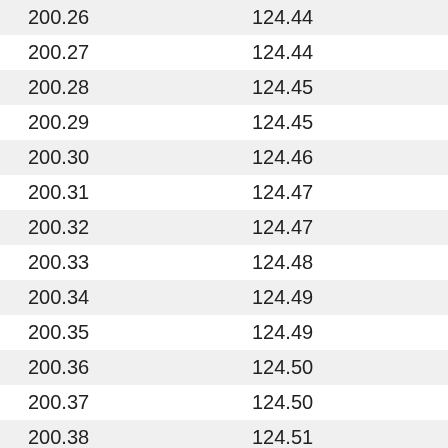| 200.26 | 124.44 |
| 200.27 | 124.44 |
| 200.28 | 124.45 |
| 200.29 | 124.45 |
| 200.30 | 124.46 |
| 200.31 | 124.47 |
| 200.32 | 124.47 |
| 200.33 | 124.48 |
| 200.34 | 124.49 |
| 200.35 | 124.49 |
| 200.36 | 124.50 |
| 200.37 | 124.50 |
| 200.38 | 124.51 |